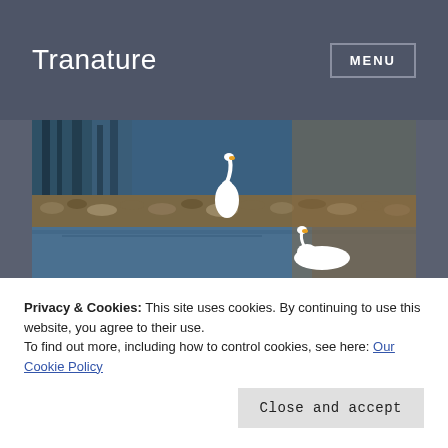Tranature
[Figure (photo): Panoramic nature photo showing swans on a rocky shoreline of a lake or river, with blue water reflections and brown rocks visible. Two white swans are seen, one standing on the rocks and one swimming in the foreground.]
Haibun: Sanctuary
Privacy & Cookies: This site uses cookies. By continuing to use this website, you agree to their use.
To find out more, including how to control cookies, see here: Our Cookie Policy